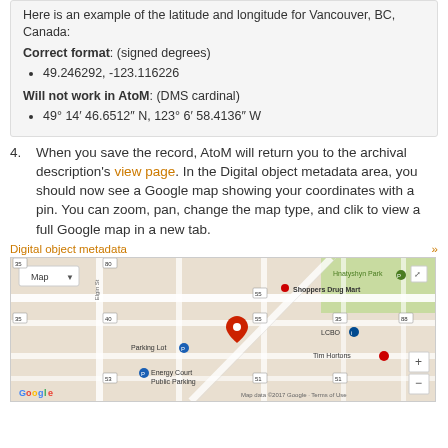Here is an example of the latitude and longitude for Vancouver, BC, Canada:
Correct format: (signed degrees)
49.246292, -123.116226
Will not work in AtoM: (DMS cardinal)
49° 14′ 46.6512″ N, 123° 6′ 58.4136″ W
4. When you save the record, AtoM will return you to the archival description's view page. In the Digital object metadata area, you should now see a Google map showing your coordinates with a pin. You can zoom, pan, change the map type, and clik to view a full Google map in a new tab.
Digital object metadata »
[Figure (screenshot): Screenshot of a Google map embedded in a Digital object metadata area, showing a map of an area with a red pin marker, near Shoppers Drug Mart, Hnatyshyn Park, LCBO, Tim Hortons, and Energy Court Public Parking. The map has zoom controls and a 'Map' dropdown. A 'Google' logo and 'Map data ©2017 Google · Terms of Use' attribution are shown.]
Filename   007-1-1-10.jpg